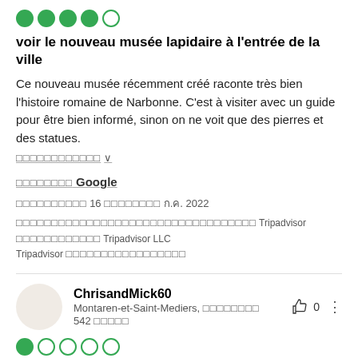[Figure (other): 5-circle rating display with 4 filled green circles and 1 empty circle]
voir le nouveau musée lapidaire à l'entrée de la ville
Ce nouveau musée récemment créé raconte très bien l'histoire romaine de Narbonne. C'est à visiter avec un guide pour être bien informé, sinon on ne voit que des pierres et des statues.
[more link with chevron]
[box chars] Google
[box chars] 16 [box chars] ก.ค. 2022
[box chars] Tripadvisor [box chars] Tripadvisor LLC Tripadvisor [box chars]
[Figure (other): Horizontal divider line]
ChrisandMick60
Montaren-et-Saint-Mediers, [box chars]
542 [box chars]
[Figure (other): 5-circle rating display with 1 filled green circle and 4 empty circles]
น